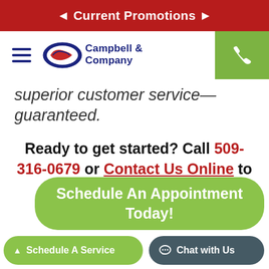◄ Current Promotions →
[Figure (logo): Campbell & Company logo with oval emblem and hamburger menu and phone icon]
superior customer service—guaranteed.
Ready to get started? Call 509-316-0679 or Contact Us Online to set up an appointment.
Schedule An Appointment Today!
▲ Schedule A Service
Chat with Us